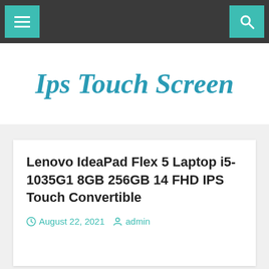Navigation bar with menu and search icons
Ips Touch Screen
Lenovo IdeaPad Flex 5 Laptop i5-1035G1 8GB 256GB 14 FHD IPS Touch Convertible
August 22, 2021  admin